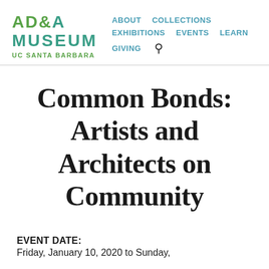[Figure (logo): AD&A Museum UC Santa Barbara logo with green and teal lettering]
ABOUT  COLLECTIONS  EXHIBITIONS  EVENTS  LEARN  GIVING
Common Bonds: Artists and Architects on Community
EVENT DATE:
Friday, January 10, 2020 to Sunday,